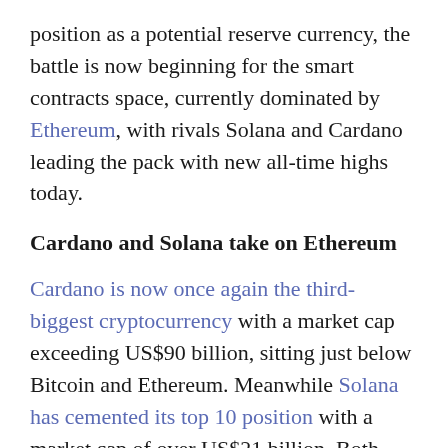position as a potential reserve currency, the battle is now beginning for the smart contracts space, currently dominated by Ethereum, with rivals Solana and Cardano leading the pack with new all-time highs today.
Cardano and Solana take on Ethereum
Cardano is now once again the third-biggest cryptocurrency with a market cap exceeding US$90 billion, sitting just below Bitcoin and Ethereum. Meanwhile Solana has cemented its top 10 position with a market cap of over US$21 billion. Both Solana and Cardano have been marketed as potential rivals to Ethereum, which currently hosts the vast majority of decentralized finance (DeFi).